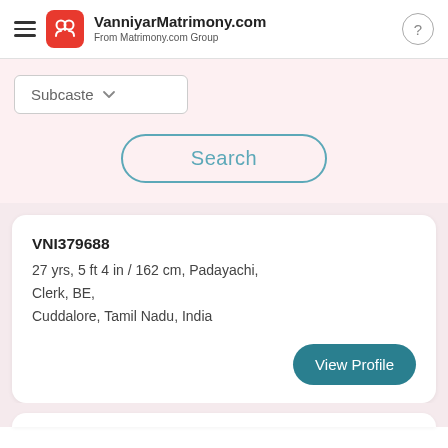VanniyarMatrimony.com — From Matrimony.com Group
Subcaste
Search
VNI379688
27 yrs, 5 ft 4 in / 162 cm, Padayachi, Clerk, BE, Cuddalore, Tamil Nadu, India
View Profile